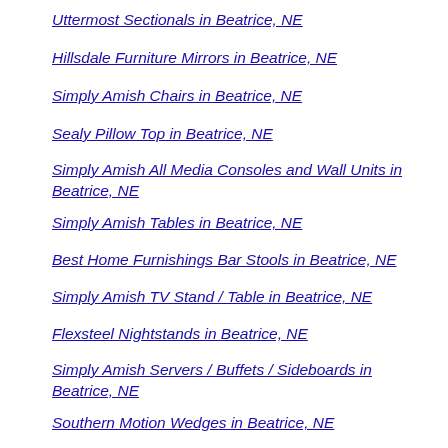Uttermost Sectionals in Beatrice, NE
Hillsdale Furniture Mirrors in Beatrice, NE
Simply Amish Chairs in Beatrice, NE
Sealy Pillow Top in Beatrice, NE
Simply Amish All Media Consoles and Wall Units in Beatrice, NE
Simply Amish Tables in Beatrice, NE
Best Home Furnishings Bar Stools in Beatrice, NE
Simply Amish TV Stand / Table in Beatrice, NE
Flexsteel Nightstands in Beatrice, NE
Simply Amish Servers / Buffets / Sideboards in Beatrice, NE
Southern Motion Wedges in Beatrice, NE
Chromcraft Bar Stools in Beatrice, NE